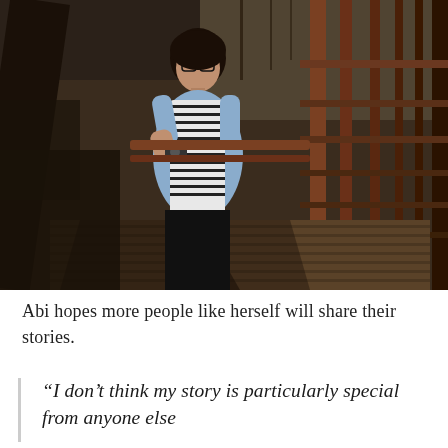[Figure (photo): A woman with glasses wearing a striped shirt and light blue denim jacket stands leaning against a reddish-brown metal bridge railing, holding a camera. The background shows a wooden bridge deck, iron truss structure, and bare winter trees. The photo is in a dark, muted tone.]
Abi hopes more people like herself will share their stories.
“I don’t think my story is particularly special from anyone else